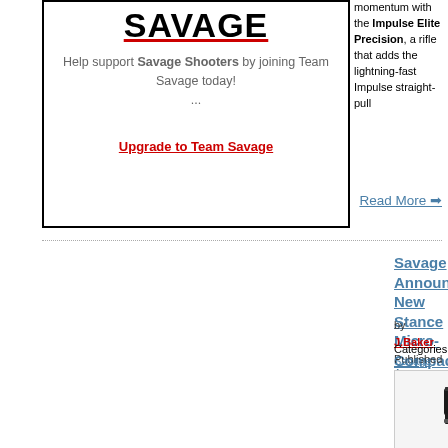[Figure (logo): Savage Arms logo with red underline text reading SAVAGE]
Help support Savage Shooters by joining Team Savage today!
Upgrade to Team Savage
momentum with the Impulse Elite Precision, a rifle that adds the lightning-fast Impulse straight-pull
Read More →
Savage Announces New Stance Micro-Compact Pistols
by J.Baker Published on 12-21-2021 04:34 PM  Number of Views: 1262
Categories: Savage Arms
[Figure (photo): Photo of Savage Stance micro-compact pistol, black handgun on white background]
Yesterday (Dec. 20, 2021) Savage Arms officially launched their new line of Stance semi-auto micro-compact pistols. It's been over 100 years since Savage Arms last brought a new